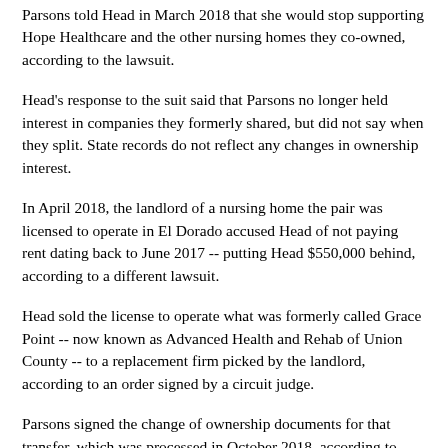Parsons told Head in March 2018 that she would stop supporting Hope Healthcare and the other nursing homes they co-owned, according to the lawsuit.
Head's response to the suit said that Parsons no longer held interest in companies they formerly shared, but did not say when they split. State records do not reflect any changes in ownership interest.
In April 2018, the landlord of a nursing home the pair was licensed to operate in El Dorado accused Head of not paying rent dating back to June 2017 -- putting Head $550,000 behind, according to a different lawsuit.
Head sold the license to operate what was formerly called Grace Point -- now known as Advanced Health and Rehab of Union County -- to a replacement firm picked by the landlord, according to an order signed by a circuit judge.
Parsons signed the change of ownership documents for that transfer, which was processed in October 2018, according to copies obtained under the Arkansas Freedom of Information Act.